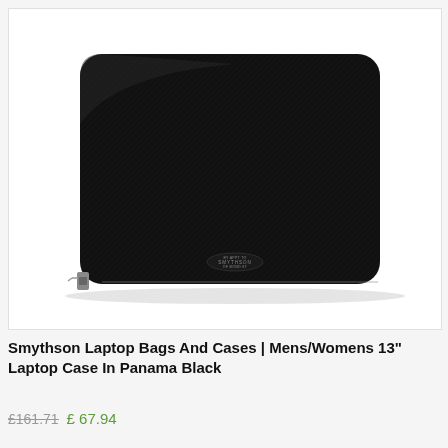[Figure (photo): A black Smythson leather laptop case (13 inch) in Panama Black, shown closed against a white background. The case has a zip closure, rounded corners, a cross-hatch leather texture, and a small gold Smythson logo embossed at the bottom center.]
Smythson Laptop Bags And Cases | Mens/Womens 13" Laptop Case In Panama Black
£161.71 £ 67.94